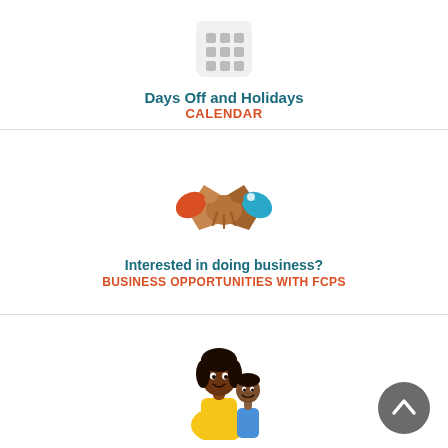[Figure (illustration): Calendar icon — grey grid of squares on white rounded rectangle]
Days Off and Holidays
CALENDAR
[Figure (illustration): Handshake icon with two hands, one brown with red sleeve, one darker with blue sleeve, shaking hands]
Interested in doing business?
BUSINESS OPPORTUNITIES WITH FCPS
[Figure (illustration): Illustration of a mother and child smiling, wearing yellow top and blue outfit respectively]
[Figure (illustration): Back to top button — grey circle with upward chevron arrow]